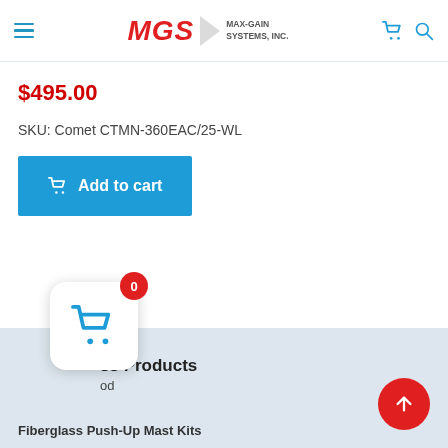MGS MAX-GAIN SYSTEMS, INC.
$495.00
SKU: Comet CTMN-360EAC/25-WL
Add to cart
ss Products
od
Fiberglass Push-Up Mast Kits